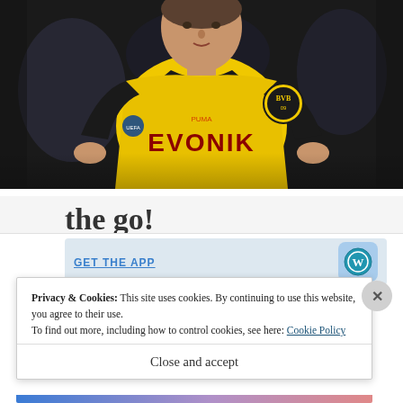[Figure (photo): A footballer wearing a yellow and black Borussia Dortmund jersey with BVB 09 badge and EVONIK sponsor, running during a match. The shirt has UEFA Champions League badge on sleeve.]
the go!
GET THE APP
Privacy & Cookies: This site uses cookies. By continuing to use this website, you agree to their use.
To find out more, including how to control cookies, see here: Cookie Policy
Close and accept